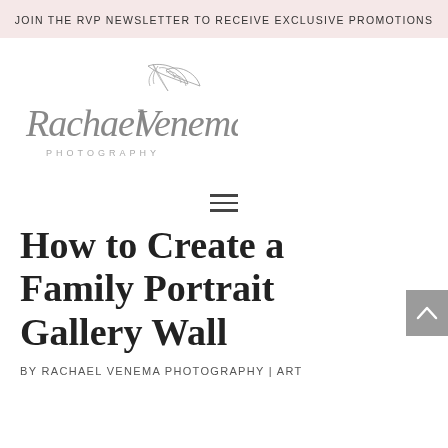JOIN THE RVP NEWSLETTER TO RECEIVE EXCLUSIVE PROMOTIONS
[Figure (logo): Rachael Venema Photography script logo with botanical leaf illustration]
[Figure (infographic): Hamburger menu icon (three horizontal lines)]
How to Create a Family Portrait Gallery Wall
BY RACHAEL VENEMA PHOTOGRAPHY | ART